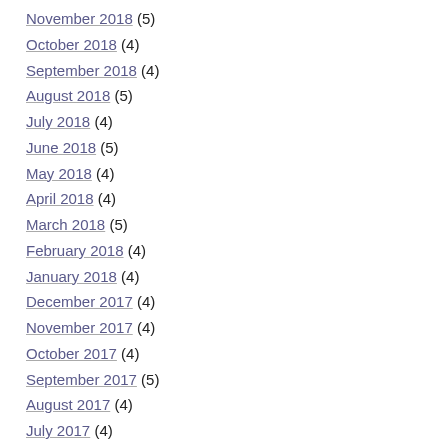November 2018 (5)
October 2018 (4)
September 2018 (4)
August 2018 (5)
July 2018 (4)
June 2018 (5)
May 2018 (4)
April 2018 (4)
March 2018 (5)
February 2018 (4)
January 2018 (4)
December 2017 (4)
November 2017 (4)
October 2017 (4)
September 2017 (5)
August 2017 (4)
July 2017 (4)
June 2017 (5)
May 2017 (4)